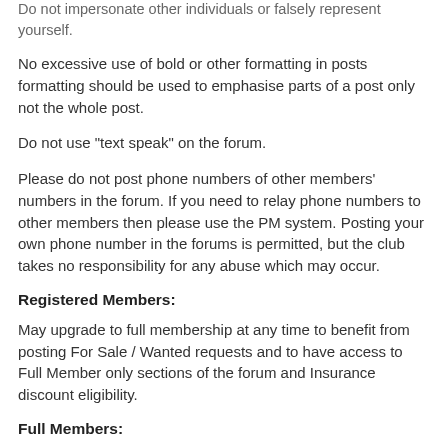Do not impersonate other individuals or falsely represent yourself.
No excessive use of bold or other formatting in posts formatting should be used to emphasise parts of a post only not the whole post.
Do not use "text speak" on the forum.
Please do not post phone numbers of other members' numbers in the forum. If you need to relay phone numbers to other members then please use the PM system. Posting your own phone number in the forums is permitted, but the club takes no responsibility for any abuse which may occur.
Registered Members:
May upgrade to full membership at any time to benefit from posting For Sale / Wanted requests and to have access to Full Member only sections of the forum and Insurance discount eligibility.
Full Members:
Avatars width can be no greater than 100 pixels, the height no greater than 100 pixels, and the file size no more than 10 KB
Only Full members are permitted to have a picture in their